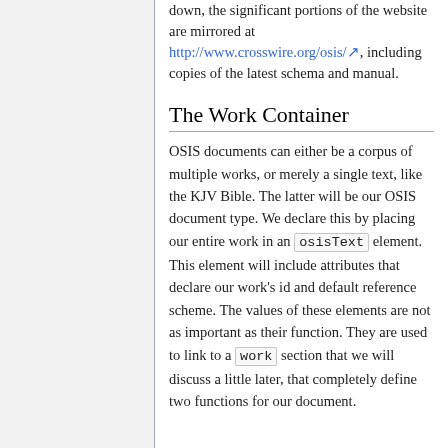down, the significant portions of the website are mirrored at http://www.crosswire.org/osis/, including copies of the latest schema and manual.
The Work Container
OSIS documents can either be a corpus of multiple works, or merely a single text, like the KJV Bible. The latter will be our OSIS document type. We declare this by placing our entire work in an osisText element. This element will include attributes that declare our work's id and default reference scheme. The values of these elements are not as important as their function. They are used to link to a work section that we will discuss a little later, that completely define two functions for our document.